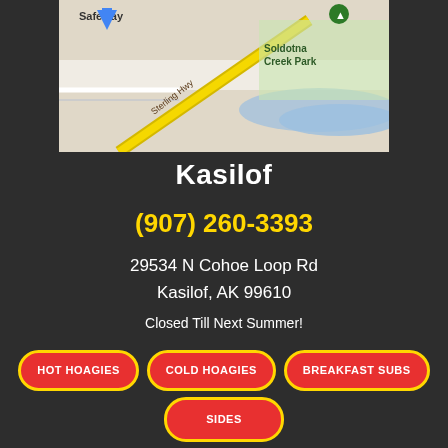[Figure (map): Google Maps screenshot showing Sterling Hwy area with Soldotna Creek Park label, Safeway marker, and a navigation pin]
Kasilof
(907) 260-3393
29534 N Cohoe Loop Rd
Kasilof, AK 99610
Closed Till Next Summer!
HOT HOAGIES
COLD HOAGIES
BREAKFAST SUBS
SIDES